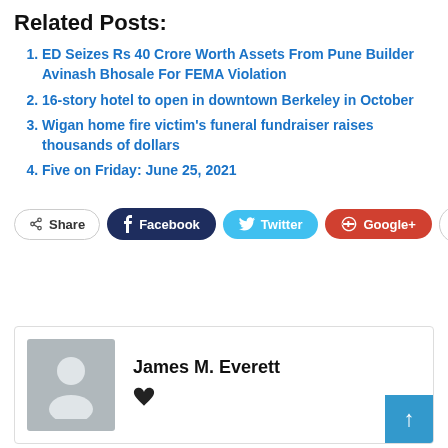Related Posts:
ED Seizes Rs 40 Crore Worth Assets From Pune Builder Avinash Bhosale For FEMA Violation
16-story hotel to open in downtown Berkeley in October
Wigan home fire victim's funeral fundraiser raises thousands of dollars
Five on Friday: June 25, 2021
Share  Facebook  Twitter  Google+  +
James M. Everett